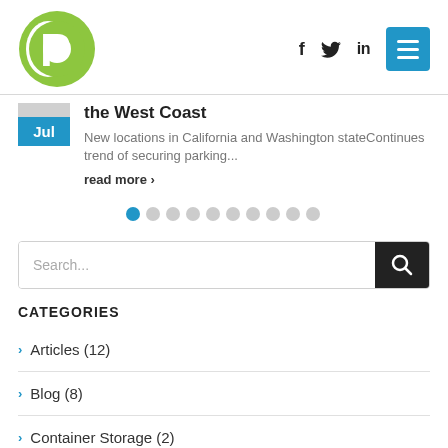[Figure (logo): Green circular logo with white P letter inside, representing a brand/company]
[Figure (infographic): Header navigation with social media icons (f, twitter bird, in) and a blue hamburger menu button]
the West Coast
New locations in California and Washington stateContinues trend of securing parking...
read more >
[Figure (infographic): Carousel pagination dots: 10 dots, first one filled blue, rest gray]
[Figure (infographic): Search bar with placeholder text 'Search...' and a dark search button with magnifying glass icon]
CATEGORIES
Articles (12)
Blog (8)
Container Storage (2)